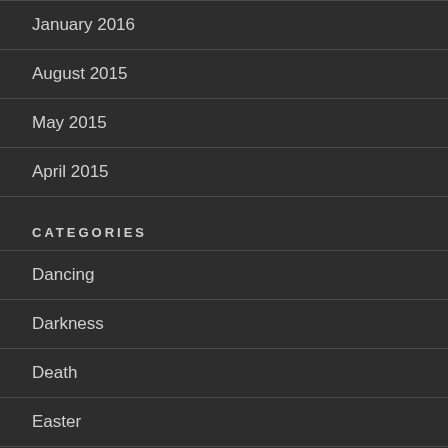January 2016
August 2015
May 2015
April 2015
CATEGORIES
Dancing
Darkness
Death
Easter
fear